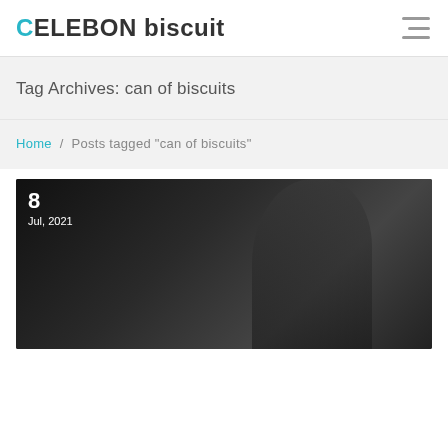CELEBON biscuit
Tag Archives: can of biscuits
Home / Posts tagged "can of biscuits"
[Figure (photo): Dark black and white photo of a person, likely a woman, with hands near face/neck. Date overlay shows '8 / Jul, 2021' in white text on the top-left of the image.]